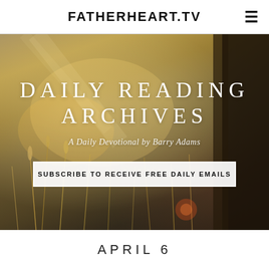FATHERHEART.TV
[Figure (photo): Nature/outdoor background image showing golden grassy field with warm sunlight and a dark tree trunk on the right side, used as hero banner background]
DAILY READING ARCHIVES
A Daily Devotional by Barry Adams
SUBSCRIBE TO RECEIVE FREE DAILY EMAILS
APRIL 6